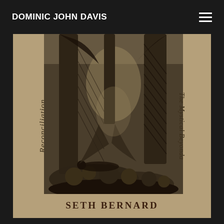DOMINIC JOHN DAVIS
[Figure (illustration): Book cover for 'Reconciliation / The Mystical Beyonda' by Seth Bernard. Features a woodcut-style illustration of a dark forest scene with arched tree roots or cave opening, figure lying on the ground among foliage. Printed on kraft/tan paper. Text 'Reconciliation' runs vertically on the left side (italic serif), 'The Mystical Beyonda' runs vertically on the right side (italic serif), and 'SETH BERNARD' appears in bold uppercase at the bottom.]
Reconciliation
The Mystical Beyonda
SETH BERNARD